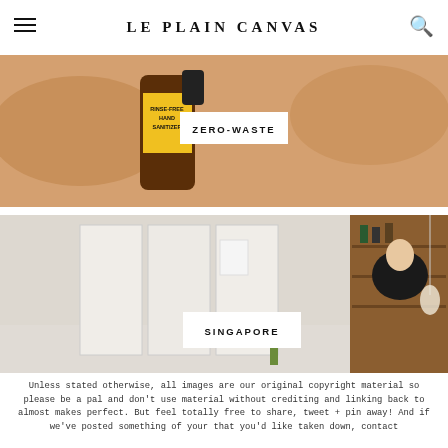LE PLAIN CANVAS
[Figure (photo): Close-up of hands holding a small amber spray bottle with a yellow label reading RINSE-FREE HAND SANITIZER. White label overlay reads ZERO-WASTE.]
[Figure (photo): Interior of a minimalist shop or studio with white walls, shelving units, plants, and a person in a dark jacket browsing. White label overlay reads SINGAPORE.]
Unless stated otherwise, all images are our original copyright material so please be a pal and don't use material without crediting and linking back to almost makes perfect. But feel totally free to share, tweet + pin away! And if we've posted something of your that you'd like taken down, contact